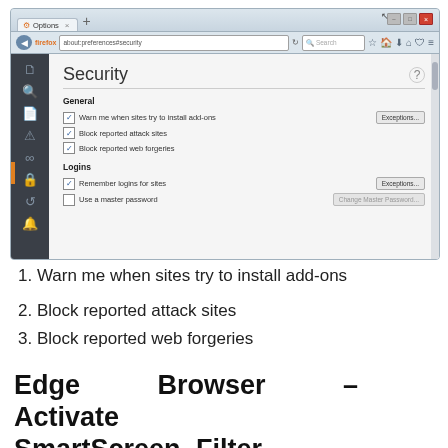[Figure (screenshot): Firefox browser window showing Security preferences page with General settings (Warn me when sites try to install add-ons, Block reported attack sites, Block reported web forgeries) and Logins section (Remember logins for sites, Use a master password). Dark sidebar with browser navigation icons on left.]
1. Warn me when sites try to install add-ons
2. Block reported attack sites
3. Block reported web forgeries
Edge Browser – Activate SmartScreen Filter